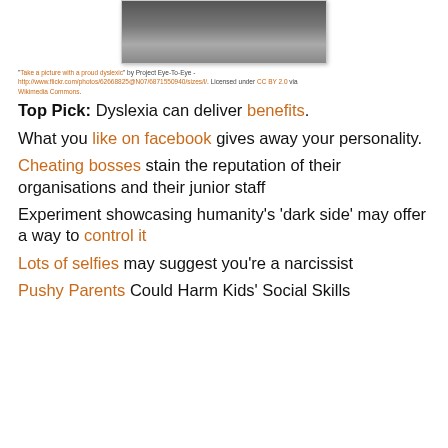[Figure (photo): Photograph showing people's legs and feet standing on pavement, cropped at the top]
"Take a picture with a proud dyslexic" by Project Eye-To-Eye - http://www.flickr.com/photos/62668825@N07/6871550940/sizes/l/. Licensed under CC BY 2.0 via Wikimedia Commons.
Top Pick: Dyslexia can deliver benefits.
What you like on facebook gives away your personality.
Cheating bosses stain the reputation of their organisations and their junior staff
Experiment showcasing humanity's 'dark side' may offer a way to control it
Lots of selfies may suggest you're a narcissist
Pushy Parents Could Harm Kids' Social Skills